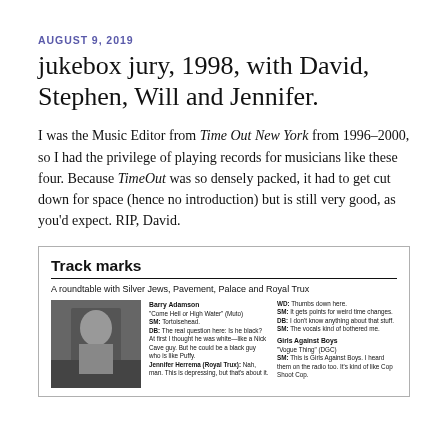AUGUST 9, 2019
jukebox jury, 1998, with David, Stephen, Will and Jennifer.
I was the Music Editor from Time Out New York from 1996–2000, so I had the privilege of playing records for musicians like these four. Because TimeOut was so densely packed, it had to get cut down for space (hence no introduction) but is still very good, as you'd expect. RIP, David.
[Figure (other): Scanned newspaper clipping with headline 'Track marks', subtitle 'A roundtable with Silver Jews, Pavement, Palace and Royal Trux', containing a photo of a person and two columns of text with music reviews and quotes.]